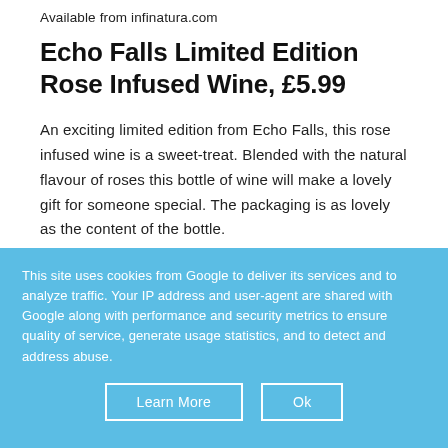Available from infinatura.com
Echo Falls Limited Edition Rose Infused Wine, £5.99
An exciting limited edition from Echo Falls, this rose infused wine is a sweet-treat. Blended with the natural flavour of roses this bottle of wine will make a lovely gift for someone special. The packaging is as lovely as the content of the bottle.
This site uses cookies from Google to deliver its services and to analyze traffic. Your IP address and user-agent are shared with Google along with performance and security metrics to ensure quality of service, generate usage statistics, and to detect and address abuse.
Learn More
Ok